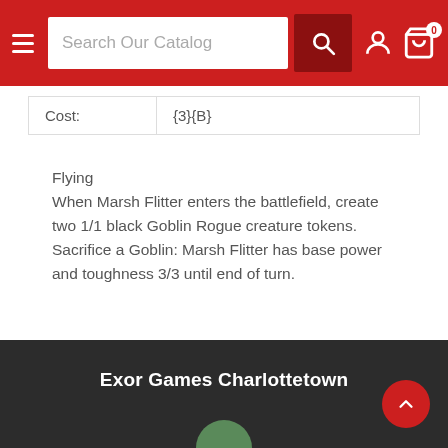Search Our Catalog
| Cost: | {3}{B} |
| --- | --- |
Flying
When Marsh Flitter enters the battlefield, create two 1/1 black Goblin Rogue creature tokens. Sacrifice a Goblin: Marsh Flitter has base power and toughness 3/3 until end of turn.
Exor Games Charlottetown